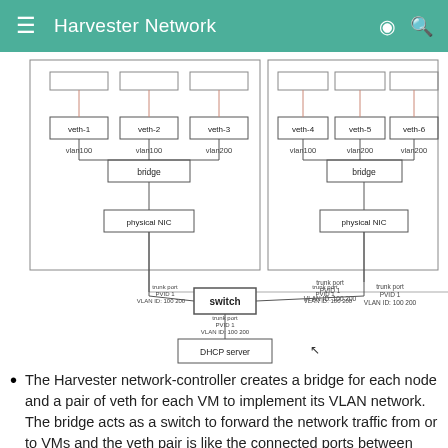Harvester Network
[Figure (network-graph): Network diagram showing two nodes each with veth interfaces (veth-1/2/3 on left, veth-4/5/6 on right) connected via bridges and physical NICs to a central switch with trunk ports and PVID 1, VLAN IDs 100 200, and a DHCP server below the switch.]
The Harvester network-controller creates a bridge for each node and a pair of veth for each VM to implement its VLAN network. The bridge acts as a switch to forward the network traffic from or to VMs and the veth pair is like the connected ports between